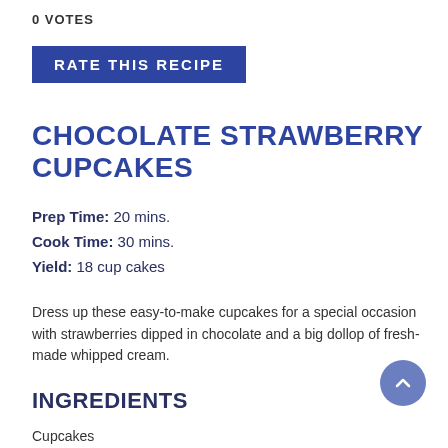0 VOTES
RATE THIS RECIPE
CHOCOLATE STRAWBERRY CUPCAKES
Prep Time: 20 mins.
Cook Time: 30 mins.
Yield: 18 cup cakes
Dress up these easy-to-make cupcakes for a special occasion with strawberries dipped in chocolate and a big dollop of fresh-made whipped cream.
INGREDIENTS
Cupcakes